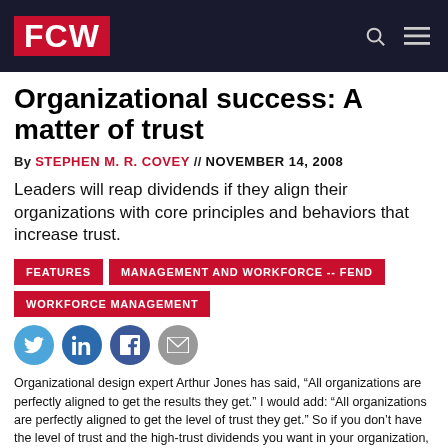FCW
Organizational success: A matter of trust
By STEPHEN M. R. COVEY // NOVEMBER 14, 2008
Leaders will reap dividends if they align their organizations with core principles and behaviors that increase trust.
FEATURES
MANAGEMENT AND WORKFORCE -- FEND
WORKFORCE MANAGEMENT
[Figure (infographic): Social sharing icons: Twitter, LinkedIn, Facebook, Email]
Organizational design expert Arthur Jones has said, “All organizations are perfectly aligned to get the results they get.” I would add: “All organizations are perfectly aligned to get the level of trust they get.” So if you don’t have the level of trust and the high-trust dividends you want in your organization, it’s time to look at the principle of alignment. It’s time to look at the structures and systems that communicate — far more